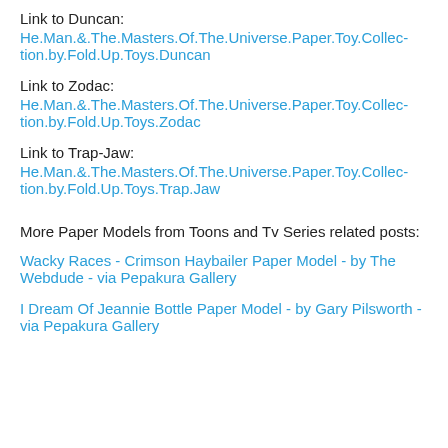Link to Duncan:
He.Man.&.The.Masters.Of.The.Universe.Paper.Toy.Collection.by.Fold.Up.Toys.Duncan
Link to Zodac:
He.Man.&.The.Masters.Of.The.Universe.Paper.Toy.Collection.by.Fold.Up.Toys.Zodac
Link to Trap-Jaw:
He.Man.&.The.Masters.Of.The.Universe.Paper.Toy.Collection.by.Fold.Up.Toys.Trap.Jaw
More Paper Models from Toons and Tv Series related posts:
Wacky Races - Crimson Haybailer Paper Model - by The Webdude - via Pepakura Gallery
I Dream Of Jeannie Bottle Paper Model - by Gary Pilsworth - via Pepakura Gallery